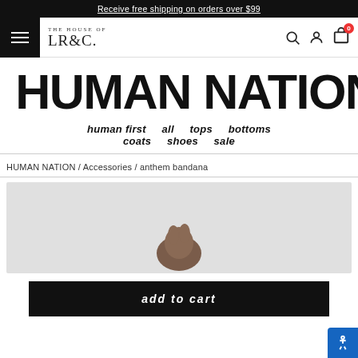Receive free shipping on orders over $99
[Figure (logo): THE HOUSE OF LR&C logo with hamburger menu, search, account and cart icons]
[Figure (logo): HUMAN NATION large brand wordmark logo]
human first   all   tops   bottoms   coats   shoes   sale
HUMAN NATION / Accessories / anthem bandana
[Figure (photo): Product photo area showing anthem bandana on light gray background]
add to cart